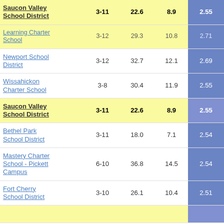| School/District | Grades | % Economically Disadvantaged | % ELL | Score |
| --- | --- | --- | --- | --- |
| Saucon Valley School District | 3-11 | 22.6 | 8.9 | 2.55 |
| Learning Charter School | 3-12 | 29.3 | 10.8 | 2.71 |
| Newport School District | 3-12 | 32.7 | 12.1 | 2.69 |
| Wissahickon Charter School | 3-8 | 30.4 | 11.9 | 2.55 |
| Saucon Valley School District | 3-11 | 22.6 | 8.9 | 2.55 |
| Bethel Park School District | 3-11 | 18.0 | 7.1 | 2.54 |
| Mastery Charter School - Pickett Campus | 6-10 | 36.8 | 14.5 | 2.54 |
| Fort Cherry School District | 3-10 | 26.1 | 10.4 | 2.51 |